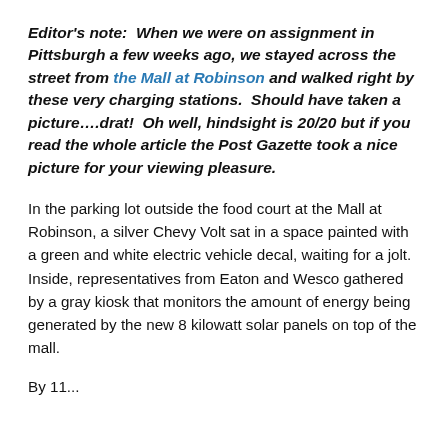Editor's note:  When we were on assignment in Pittsburgh a few weeks ago, we stayed across the street from the Mall at Robinson and walked right by these very charging stations.  Should have taken a picture….drat!  Oh well, hindsight is 20/20 but if you read the whole article the Post Gazette took a nice picture for your viewing pleasure.
In the parking lot outside the food court at the Mall at Robinson, a silver Chevy Volt sat in a space painted with a green and white electric vehicle decal, waiting for a jolt. Inside, representatives from Eaton and Wesco gathered by a gray kiosk that monitors the amount of energy being generated by the new 8 kilowatt solar panels on top of the mall.
By 11...